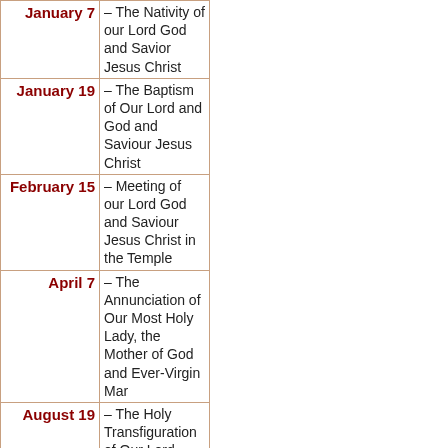| Date | Description |
| --- | --- |
| January 7 | – The Nativity of our Lord God and Savior Jesus Christ |
| January 19 | – The Baptism of Our Lord and God and Saviour Jesus Christ |
| February 15 | – Meeting of our Lord God and Saviour Jesus Christ in the Temple |
| April 7 | – The Annunciation of Our Most Holy Lady, the Mother of God and Ever-Virgin Mar |
| August 19 | – The Holy Transfiguration of Our Lord God and Saviour Jesus Christ |
| August 28 | – The Dormition of our Most Holy Lady |